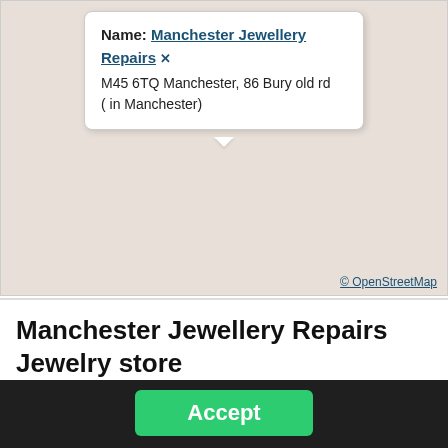[Figure (map): OpenStreetMap map view with a tooltip popup showing Manchester Jewellery Repairs location. Popup contains: Name: Manchester Jewellery Repairs [close button], address: M45 6TQ Manchester, 86 Bury old rd (in Manchester). OSM attribution at bottom right.]
Name: Manchester Jewellery Repairs ✕
M45 6TQ Manchester, 86 Bury old rd
( in Manchester)
© OpenStreetMap
Manchester Jewellery Repairs Jewelry store
We use cookies to personalise content and ads, to provide social media features and to analyse our traffic. Individual settings can be changed in the Privacy Policy. We do not support the Do Not Track browser option (CalOPPA). Further Information